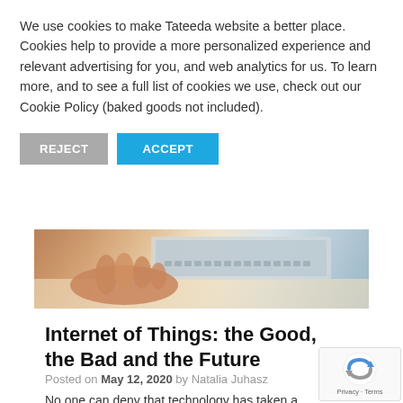We use cookies to make Tateeda website a better place. Cookies help to provide a more personalized experience and relevant advertising for you, and web analytics for us. To learn more, and to see a full list of cookies we use, check out our Cookie Policy (baked goods not included).
REJECT | ACCEPT
[Figure (photo): Close-up photo of a hand using a laptop keyboard on a desk]
Internet of Things: the Good, the Bad and the Future
Posted on May 12, 2020 by Natalia Juhasz
No one can deny that technology has taken a quantum leap in a few short years,